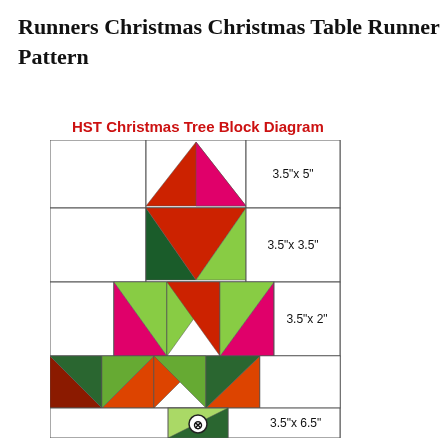Runners Christmas Christmas Table Runner Pattern
HST Christmas Tree Block Diagram
[Figure (schematic): HST Christmas Tree Block Diagram showing a quilting pattern with colored triangles forming a Christmas tree shape. Rows show different block sizes: 3.5"x5", 3.5"x3.5", 3.5"x2", and 3.5"x6.5". Colors include red, dark green, magenta/pink, light green, and orange-red triangles arranged in an HST (half-square triangle) pattern.]